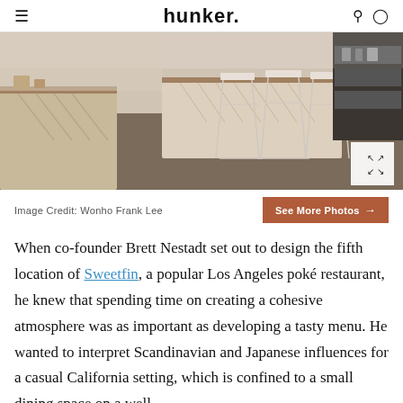hunker
[Figure (photo): Interior of Sweetfin poke restaurant showing bar seating with white wire bar stools, wooden counter with geometric pattern, open shelving in background, wood floors]
Image Credit: Wonho Frank Lee
When co-founder Brett Nestadt set out to design the fifth location of Sweetfin, a popular Los Angeles poké restaurant, he knew that spending time on creating a cohesive atmosphere was as important as developing a tasty menu. He wanted to interpret Scandinavian and Japanese influences for a casual California setting, which is confined to a small dining space on a well-